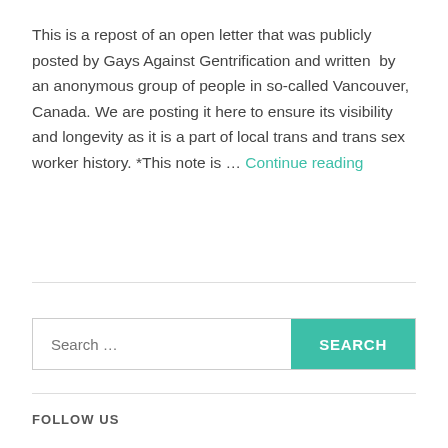This is a repost of an open letter that was publicly posted by Gays Against Gentrification and written by an anonymous group of people in so-called Vancouver, Canada. We are posting it here to ensure its visibility and longevity as it is a part of local trans and trans sex worker history. *This note is … Continue reading
FOLLOW US